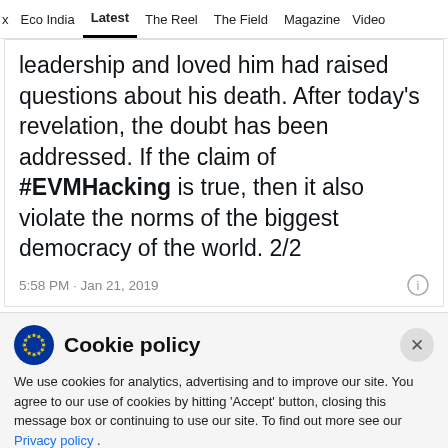x  Eco India  Latest  The Reel  The Field  Magazine  Video
leadership and loved him had raised questions about his death. After today's revelation, the doubt has been addressed. If the claim of #EVMHacking is true, then it also violate the norms of the biggest democracy of the world. 2/2
5:58 PM · Jan 21, 2019
Cookie policy
We use cookies for analytics, advertising and to improve our site. You agree to our use of cookies by hitting 'Accept' button, closing this message box or continuing to use our site. To find out more see our Privacy policy .
Accept